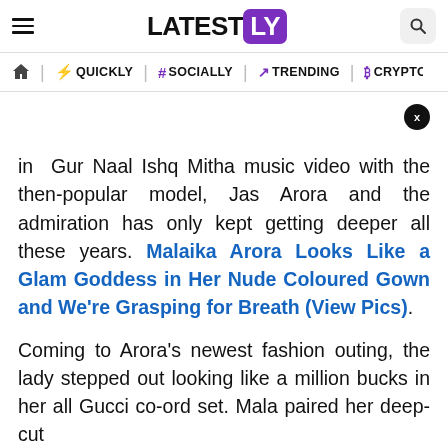LATESTLY
QUICKLY | SOCIALLY | TRENDING | CRYPTO
in Gur Naal Ishq Mitha music video with the then-popular model, Jas Arora and the admiration has only kept getting deeper all these years. Malaika Arora Looks Like a Glam Goddess in Her Nude Coloured Gown and We're Grasping for Breath (View Pics).
Coming to Arora's newest fashion outing, the lady stepped out looking like a million bucks in her all Gucci co-ord set. Mala paired her deep-cut